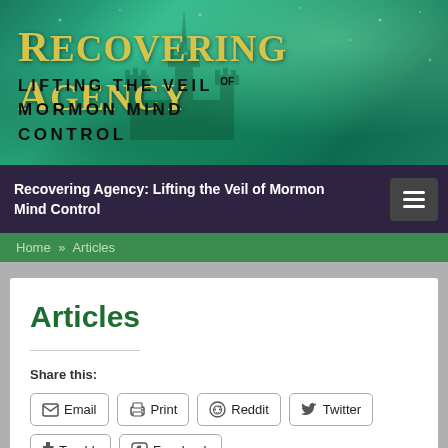[Figure (illustration): Website header banner with teal/green gradient background, castle silhouette, and text 'Recovering Agency: Lifting the Veil of Mormon Mind Control']
Recovering Agency: Lifting the Veil of Mormon Mind Control
Home » Articles
Articles
Share this:
Email  Print  Reddit  Twitter  Tumblr  Facebook